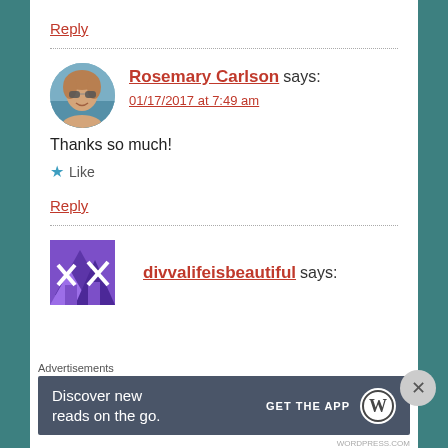Reply
Rosemary Carlson says:
01/17/2017 at 7:49 am
Thanks so much!
★ Like
Reply
divvalifeisbeautiful says:
Advertisements
Discover new reads on the go. GET THE APP